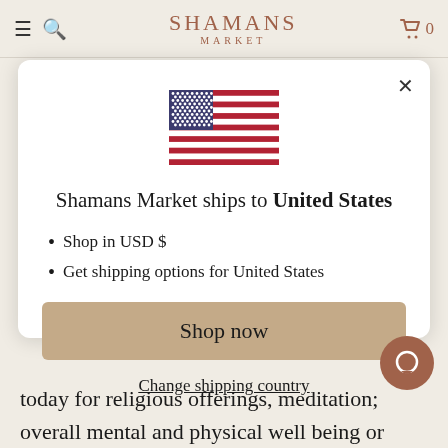SHAMANS MARKET
[Figure (illustration): US flag icon centered in modal]
Shamans Market ships to United States
Shop in USD $
Get shipping options for United States
Shop now
Change shipping country
today for religious offerings, meditation; overall mental and physical well being or